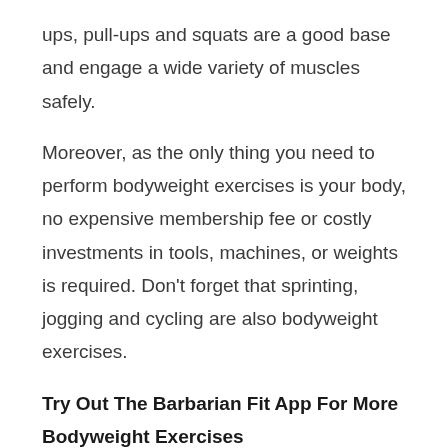ups, pull-ups and squats are a good base and engage a wide variety of muscles safely.
Moreover, as the only thing you need to perform bodyweight exercises is your body, no expensive membership fee or costly investments in tools, machines, or weights is required. Don't forget that sprinting, jogging and cycling are also bodyweight exercises.
Try Out The Barbarian Fit App For More Bodyweight Exercises
The Barbarian Fit App lets you create unique